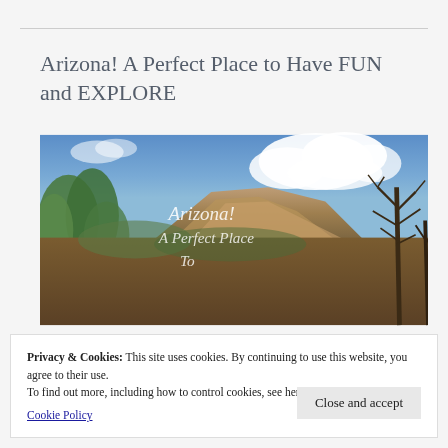Arizona! A Perfect Place to Have FUN and EXPLORE
[Figure (photo): Landscape photo of Arizona scenery with blue sky, white clouds, green trees, bare branches, and orange/brown rocky formations. White italic text overlay reads 'Arizona! A Perfect Place To...']
Privacy & Cookies: This site uses cookies. By continuing to use this website, you agree to their use.
To find out more, including how to control cookies, see here:
Cookie Policy
Close and accept